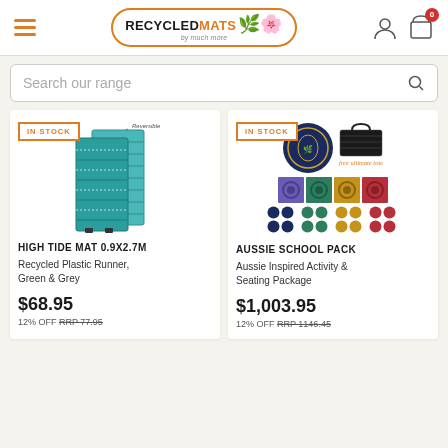RecycledMats - by much more
Search our range
[Figure (photo): High Tide Mat 0.9x2.7m product image showing teal/green recycled plastic runner mat, reversible, IN STOCK badge]
HIGH TIDE MAT 0.9X2.7M
Recycled Plastic Runner, Green & Grey
$68.95
12% OFF RRP 77.95
[Figure (photo): Aussie School Pack product image showing circular mat, tote bags, colorful square mats, and coin sets, IN STOCK badge, free ultimate tote offer]
AUSSIE SCHOOL PACK
Aussie Inspired Activity & Seating Package
$1,003.95
12% OFF RRP 1146.45